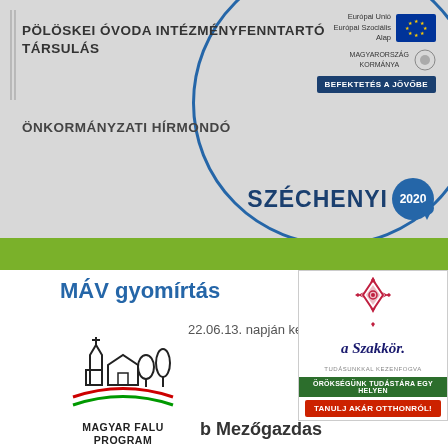PÖLÖSKEI ÓVODA INTÉZMÉNYFENNTARTÓ TÁRSULÁS
ÖNKORMÁNYZATI HÍRMONDÓ
[Figure (logo): EU logo with Európai Unió Európai Szociális Alap text, EU flag with stars, Magyarország Kormánya seal, BEFEKTETÉS A JÖVŐBE button]
[Figure (logo): Széchenyi 2020 badge with blue circle]
MÁV gyomírtás
22.06.13. napján ker
[Figure (logo): Magyar Falu Program logo with church, house, trees and tricolor arc]
b Mezőgazdas
[Figure (logo): A Szakkör logo with ornamental diamond pattern, ÖRÖKSÉGÜNK TUDÁSTÁRA EGY HELYEN green bar, TANULJ AKÁR OTTHONRÓL! red button]